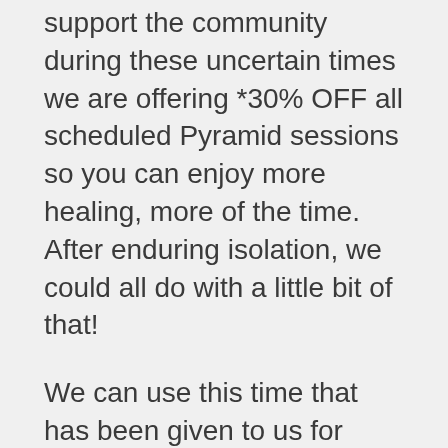support the community during these uncertain times we are offering *30% OFF all scheduled Pyramid sessions so you can enjoy more healing, more of the time. After enduring isolation, we could all do with a little bit of that!
We can use this time that has been given to us for positive change. Meditation and relaxation have been proven to boost your immune system. Tune out of the world news and tune into yourself. Together we will adapt, overcome, and welcome a new world.
The Pyramids Café is also open to nourish the community with our 'Food as Medicine' menu. Regardless if you